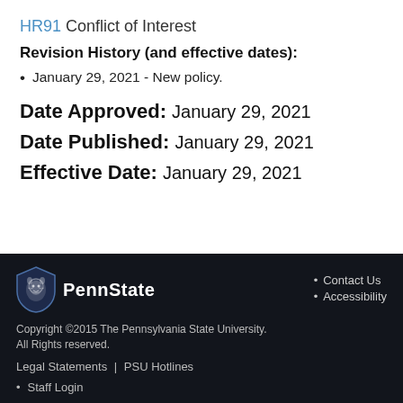HR91 Conflict of Interest
Revision History (and effective dates):
January 29, 2021 - New policy.
Date Approved:  January 29, 2021
Date Published:  January 29, 2021
Effective Date:  January 29, 2021
PennState | Contact Us | Accessibility | Copyright ©2015 The Pennsylvania State University. All Rights reserved. | Legal Statements | PSU Hotlines | Staff Login